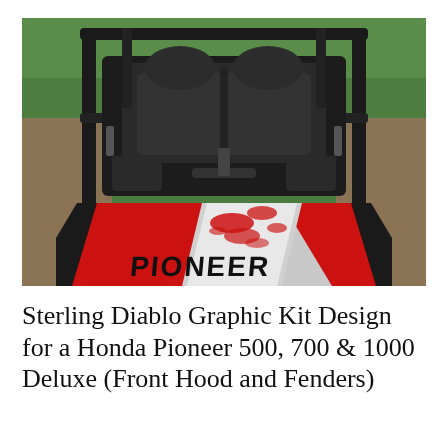[Figure (photo): A Honda Pioneer UTV photographed from the front-rear angle showing black roll cage, black bench seat, and a red and silver graphic kit on the front hood area with 'PIONEER' lettering. Background shows green grass.]
Sterling Diablo Graphic Kit Design for a Honda Pioneer 500, 700 & 1000 Deluxe (Front Hood and Fenders)